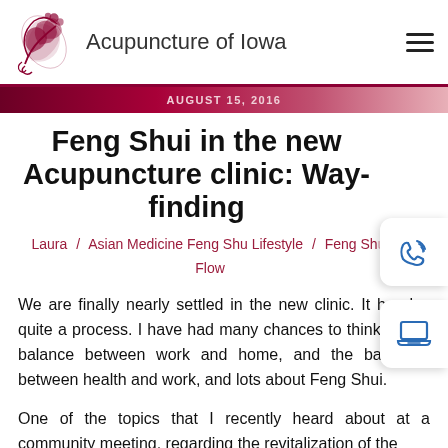Acupuncture of Iowa
AUGUST 15, 2016
Feng Shui in the new Acupuncture clinic: Way-finding
Laura / Asian Medicine Feng Shu Lifestyle / Feng Shui Flow
We are finally nearly settled in the new clinic. It has been quite a process. I have had many chances to think about the balance between work and home, and the balance between health and work, and lots about Feng Shui.
One of the topics that I recently heard about at a community meeting, regarding the revitalization of the